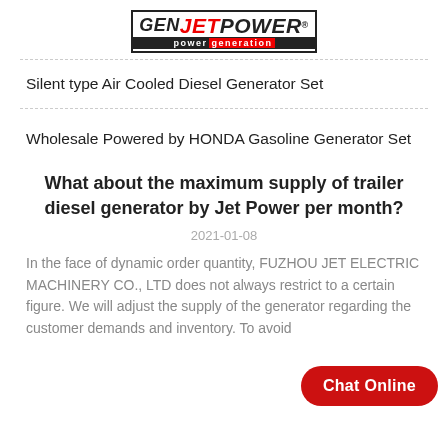[Figure (logo): GEN JETPOWER power generation logo — black and red brand mark with bordered box and tagline bar]
Silent type Air Cooled Diesel Generator Set
Wholesale Powered by HONDA Gasoline Generator Set
What about the maximum supply of trailer diesel generator by Jet Power per month?
2021-01-08
In the face of dynamic order quantity, FUZHOU JET ELECTRIC MACHINERY CO., LTD does not always restrict to a certain figure. We will adjust the supply of the generator regarding the customer demands and inventory. To avoid